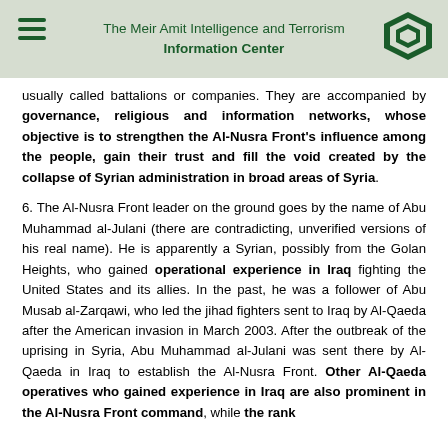The Meir Amit Intelligence and Terrorism Information Center
usually called battalions or companies. They are accompanied by governance, religious and information networks, whose objective is to strengthen the Al-Nusra Front's influence among the people, gain their trust and fill the void created by the collapse of Syrian administration in broad areas of Syria.
6. The Al-Nusra Front leader on the ground goes by the name of Abu Muhammad al-Julani (there are contradicting, unverified versions of his real name). He is apparently a Syrian, possibly from the Golan Heights, who gained operational experience in Iraq fighting the United States and its allies. In the past, he was a follower of Abu Musab al-Zarqawi, who led the jihad fighters sent to Iraq by Al-Qaeda after the American invasion in March 2003. After the outbreak of the uprising in Syria, Abu Muhammad al-Julani was sent there by Al-Qaeda in Iraq to establish the Al-Nusra Front. Other Al-Qaeda operatives who gained experience in Iraq are also prominent in the Al-Nusra Front command, while the rank